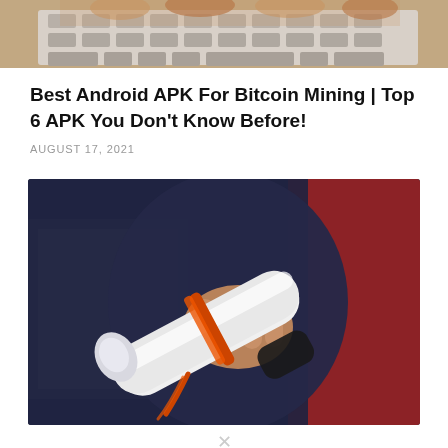[Figure (photo): Partial top photo showing hands typing on a keyboard, cropped at top of page]
Best Android APK For Bitcoin Mining | Top 6 APK You Don't Know Before!
AUGUST 17, 2021
[Figure (photo): Person in dark navy jacket and red sleeve holding a rolled white diploma/certificate tied with an orange ribbon, close-up shot]